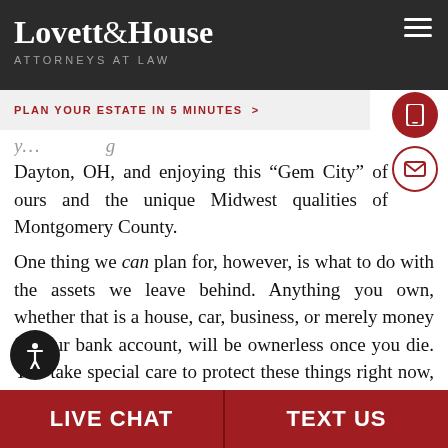Lovett&House Attorneys at Law
PLAN YOUR ESTATE IN 5 MINUTES >
Dayton, OH, and enjoying this "Gem City" of ours and the unique Midwest qualities of Montgomery County.
One thing we can plan for, however, is what to do with the assets we leave behind. Anything you own, whether that is a house, car, business, or merely money in your bank account, will be ownerless once you die. You take special care to protect these things right now, while you are living. Why, then, would you not make sure that the same is true for them when you are no longer here? What will happen to these things? Where will they go?
LIVE CHAT   TEXT US